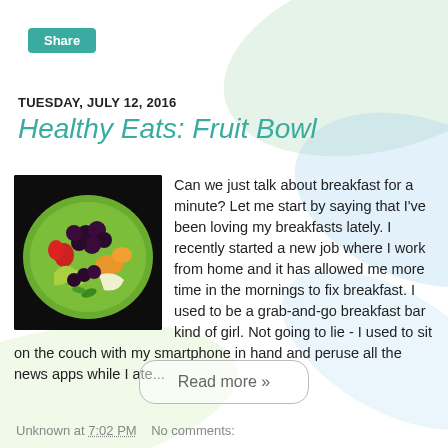Share
TUESDAY, JULY 12, 2016
Healthy Eats: Fruit Bowl
[Figure (photo): A green plate with a colorful fruit arrangement including grapes, strawberries, melon, and apple slices on a dark background]
Can we just talk about breakfast for a minute?  Let me start by saying that I've been loving my breakfasts lately. I recently started a new job where I work from home and it has allowed me more time in the mornings to fix breakfast.  I used to be a grab-and-go breakfast bar kind of girl.  Not going to lie - I used to sit on the couch with my smartphone in hand and peruse all the news apps while I ate...
Read more »
Unknown at 7:02 PM    No comments: